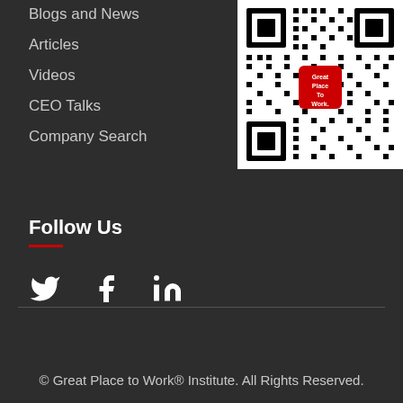Blogs and News
Articles
Videos
CEO Talks
Company Search
[Figure (other): QR code with Great Place To Work logo in center]
Follow Us
[Figure (other): Social media icons: Twitter, Facebook, LinkedIn]
© Great Place to Work® Institute. All Rights Reserved.